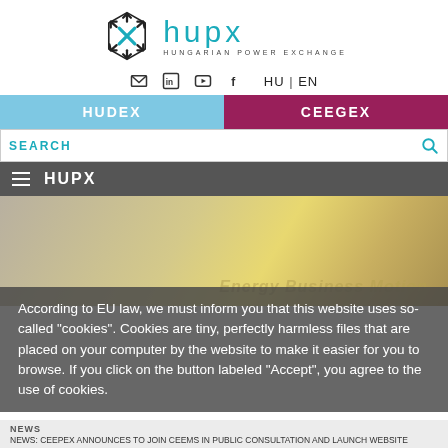[Figure (logo): HUPX Hungarian Power Exchange logo with geometric arrow icon and teal text]
Social and language navigation: email, LinkedIn, YouTube, Facebook icons; HU | EN
HUDEX | CEEGEX
SEARCH
≡ HUPX
[Figure (photo): Hero background photo of golden light bulb filaments close-up with overlay text 'Energy Business Motion']
According to EU law, we must inform you that this website uses so-called "cookies". Cookies are tiny, perfectly harmless files that are placed on your computer by the website to make it easier for you to browse. If you click on the button labeled "Accept", you agree to the use of cookies.
NEWS
NEWS: CEEPEX ANNOUNCES TO JOIN CEEMS IN PUBLIC CONSULTATION AND LAUNCH WEBSITE